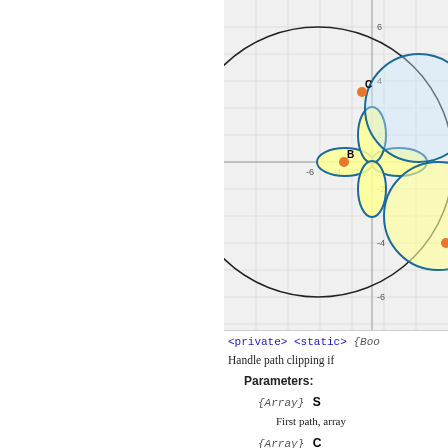[Figure (other): Mathematical plot showing a large circle and a 4-petal rose/clover curve (shaded yellow) on a coordinate grid. Points B and C are marked with orange dots. The grid has axes from approximately -6 to 6 on both axes. The curves are drawn in dark blue/teal with yellow fill for the rose petals.]
<private> <static> {Boo...
Handle path clipping if...
Parameters:
{Array} S
First path, array...
{Array} C